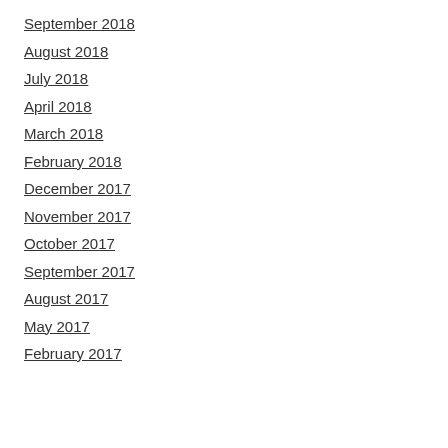September 2018
August 2018
July 2018
April 2018
March 2018
February 2018
December 2017
November 2017
October 2017
September 2017
August 2017
May 2017
February 2017